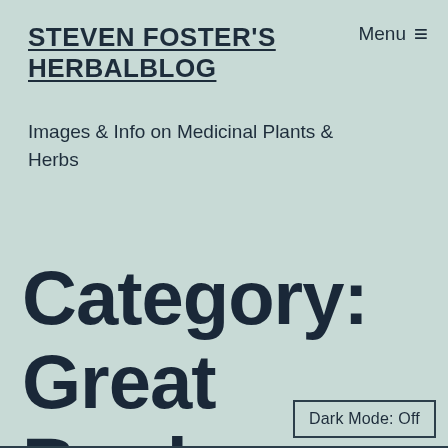STEVEN FOSTER'S HERBALBLOG
Images & Info on Medicinal Plants & Herbs
Category: Great Books
Dark Mode: Off